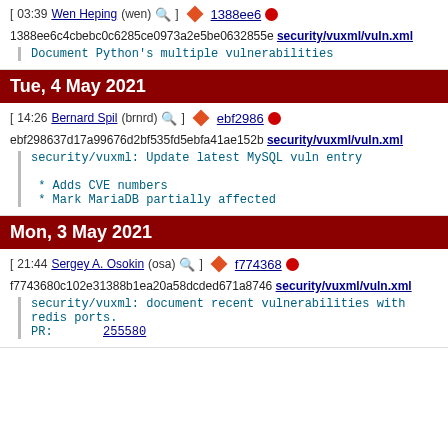[ 03:39 Wen Heping (wen) ] 1388ee6
1388ee6c4cbebc0c6285ce0973a2e5be0632855e security/vuxml/vuln.xml
Document Python's multiple vulnerabilities
Tue, 4 May 2021
[ 14:26 Bernard Spil (brnrd) ] ebf2986
ebf298637d17a99676d2bf535fd5ebfa41ae152b security/vuxml/vuln.xml
security/vuxml: Update latest MySQL vuln entry
* Adds CVE numbers
* Mark MariaDB partially affected
Mon, 3 May 2021
[ 21:44 Sergey A. Osokin (osa) ] f774368
f7743680c102e31388b1ea20a58dcded671a8746 security/vuxml/vuln.xml
security/vuxml: document recent vulnerabilities with redis ports.
PR: 255580